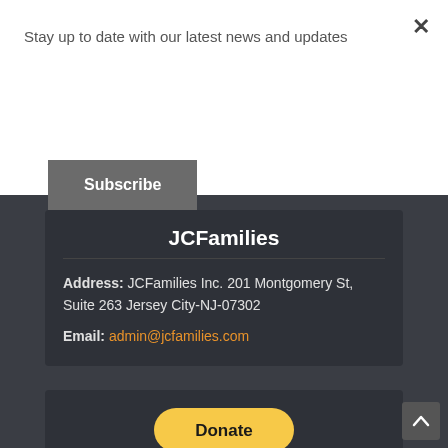Stay up to date with our latest news and updates
Subscribe
JCFamilies
Address: JCFamilies Inc. 201 Montgomery St, Suite 263 Jersey City-NJ-07302
Email: admin@jcfamilies.com
[Figure (other): PayPal Donate button with payment method icons including Visa, Mastercard, Maestro, American Express, Discover, and other cards]
Don't miss the next event